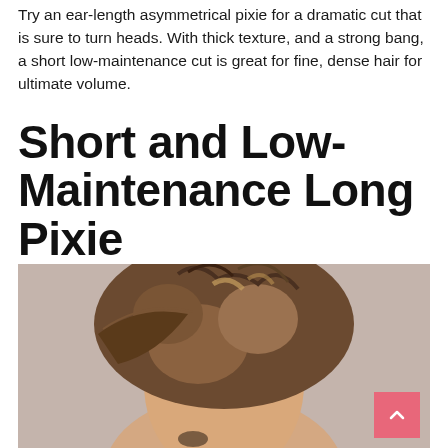Try an ear-length asymmetrical pixie for a dramatic cut that is sure to turn heads. With thick texture, and a strong bang, a short low-maintenance cut is great for fine, dense hair for ultimate volume.
Short and Low-Maintenance Long Pixie
[Figure (photo): Close-up photo of a woman with a short brown pixie haircut with highlights, textured layers, shot against a light grey background.]